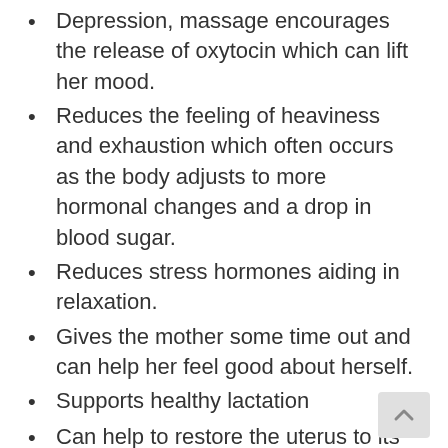Depression, massage encourages the release of oxytocin which can lift her mood.
Reduces the feeling of heaviness and exhaustion which often occurs as the body adjusts to more hormonal changes and a drop in blood sugar.
Reduces stress hormones aiding in relaxation.
Gives the mother some time out and can help her feel good about herself.
Supports healthy lactation
Can help to restore the uterus to its original state. Also, aids the recovery of muscle tone in the abdominal and pelvic area and reduces soreness.
Provides emotional support at a time when